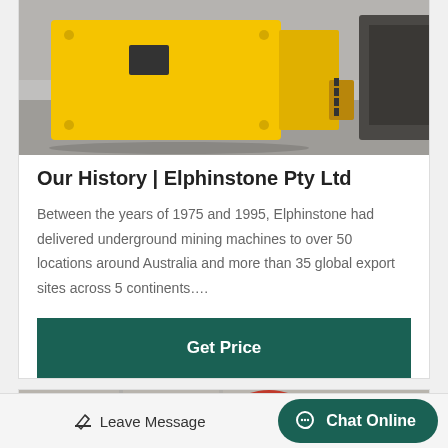[Figure (photo): Yellow industrial mining machine (jaw crusher) in a warehouse/industrial facility]
Our History | Elphinstone Pty Ltd
Between the years of 1975 and 1995, Elphinstone had delivered underground mining machines to over 50 locations around Australia and more than 35 global export sites across 5 continents….
Get Price
[Figure (photo): Close-up of a red and grey industrial wheel/flywheel of a mining machine in a warehouse]
Leave Message
Chat Online